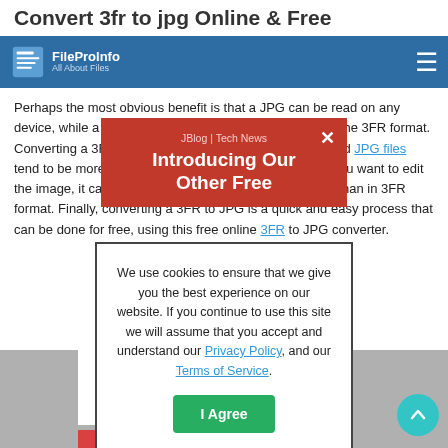Convert 3fr to jpg Online & Free
FileProInfo | All About Files | JBlog | Tech News
Perhaps the most obvious benefit is that a JPG can be read on any device, while a 3FR file is limited to devices that support the 3FR format. Converting a 3FR to JPG also makes the files smaller, and JPG files tend to be more readable than 3FR files. Additionally, if you want to edit the image, it can be much easier to do so in JPG format than in 3FR format. Finally, converting a 3FR to JPG is a quick and easy process that can be done for free, using this free online 3FR to JPG converter.
[Figure (screenshot): Red popup banner with text 'JBlog | Tech News' and 'Introducing Our Other Free' with a close X button]
[Figure (screenshot): Cookie consent dialog with text: We use cookies to ensure that we give you the best experience on our website. If you continue to use this site we will assume that you accept and understand our Privacy Policy, and our Terms of Service. With an I Agree button.]
[Figure (screenshot): Bottom image strip showing file conversion tool interface]
[Figure (screenshot): Scroll to top circular teal button with upward arrow]